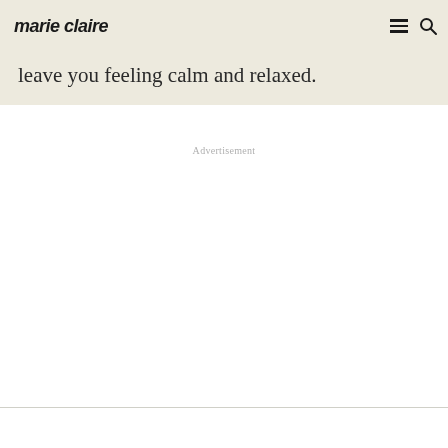marie claire
leave you feeling calm and relaxed.
Advertisement